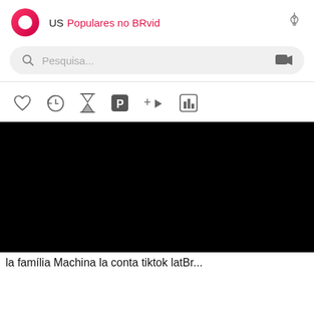[Figure (screenshot): BRvid app header with logo, US label, Populares no BRvid text, and settings icon]
[Figure (screenshot): Search bar with Pesquisa... placeholder and video camera icon]
[Figure (screenshot): Navigation icon bar with heart, back, hourglass, parking/P, add-to-playlist, and stats icons]
[Figure (screenshot): Black video thumbnail placeholder]
la família Machina la conta tiktok latBr...